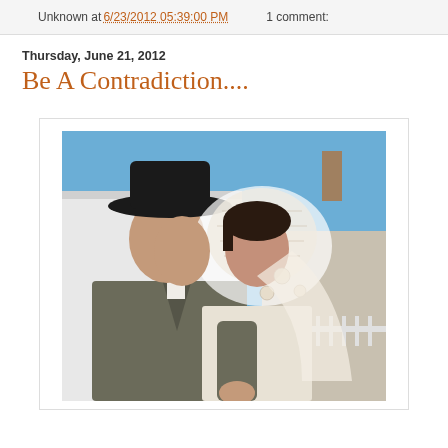Unknown at 6/23/2012 05:39:00 PM    1 comment:
Thursday, June 21, 2012
Be A Contradiction....
[Figure (photo): A man wearing a dark wide-brimmed hat and a grey suit leans in to kiss a woman wearing a white lace wedding veil. They are outdoors in front of a white building with a blue sky in the background.]